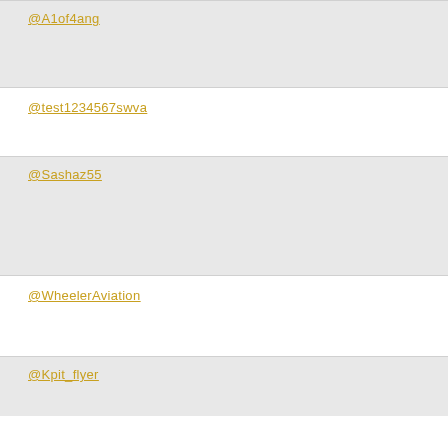@A1of4ang
@test1234567swva
@Sashaz55
@WheelerAviation
@Kpit_flyer